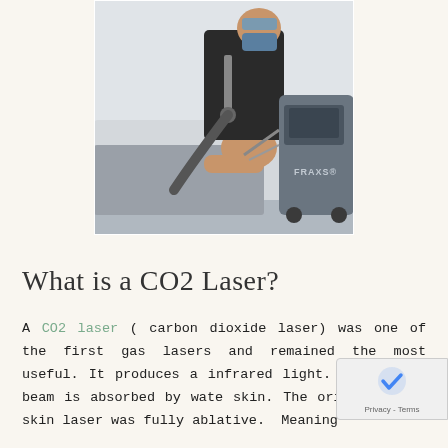[Figure (photo): A medical professional wearing a mask and protective eyewear performs a laser treatment on a patient lying on a treatment bed. A Fraxel laser machine is visible in the background on the right side. The room is a clinical/medical spa setting.]
What is a CO2 Laser?
A CO2 laser ( carbon dioxide laser) was one of the first gas lasers and remained the most useful. It produces a infrared light.  The laser beam is absorbed by wate skin. The original  CO2 skin laser was fully ablative.  Meaning